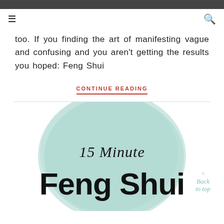≡  🔍
too. If you finding the art of manifesting vague and confusing and you aren't getting the results you hoped: Feng Shui
CONTINUE READING
[Figure (illustration): Circular teal watercolor brush stroke background with text '15 Minute Feng Shui' overlaid. Large stylized text partially visible at bottom. 'Back to top' link in teal italic script in the bottom right corner.]